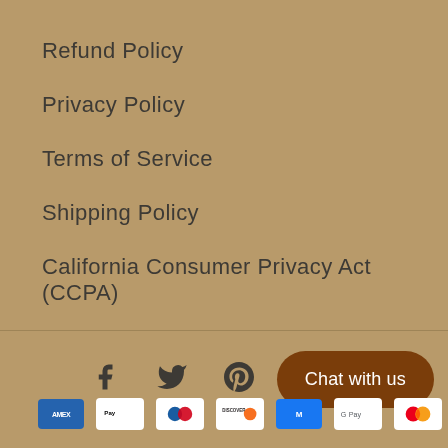Refund Policy
Privacy Policy
Terms of Service
Shipping Policy
California Consumer Privacy Act (CCPA)
Social icons: Facebook, Twitter, Pinterest, Instagram | Chat with us button | Payment methods: Amex, Apple Pay, Diners, Discover, Mastercard, Google Pay, PayPal